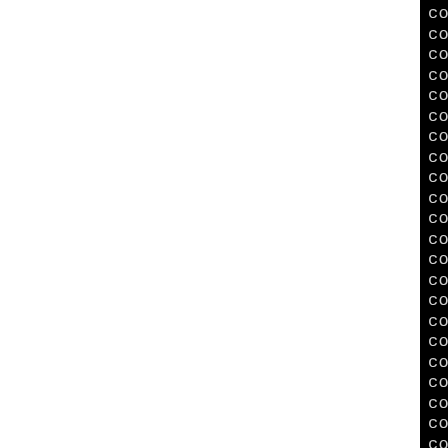[Figure (screenshot): Terminal/console output showing config.status lines creating and executing various build files, ending with 'Writing PMakefile for RPM' and a partial make command line. The left ~40% of the page is white (blank), the right ~60% shows a black terminal background with monospace white text.]